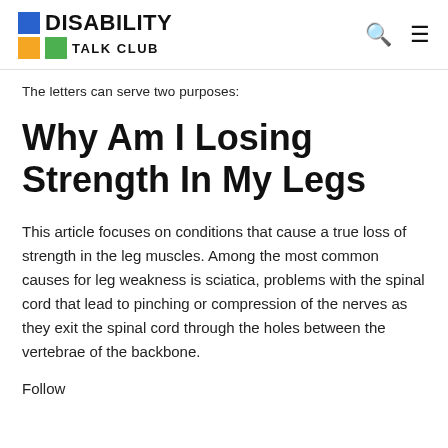DISABILITY TALK CLUB
The letters can serve two purposes:
Why Am I Losing Strength In My Legs
This article focuses on conditions that cause a true loss of strength in the leg muscles. Among the most common causes for leg weakness is sciatica, problems with the spinal cord that lead to pinching or compression of the nerves as they exit the spinal cord through the holes between the vertebrae of the backbone.
Follow